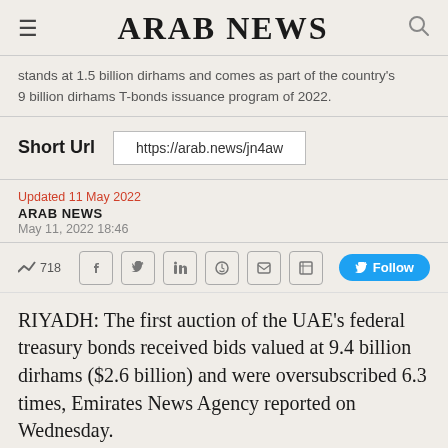ARAB NEWS
stands at 1.5 billion dirhams and comes as part of the country's 9 billion dirhams T-bonds issuance program of 2022.
Short Url  https://arab.news/jn4aw
Updated 11 May 2022
ARAB NEWS
May 11, 2022 18:46
718
RIYADH: The first auction of the UAE's federal treasury bonds received bids valued at 9.4 billion dirhams ($2.6 billion) and were oversubscribed 6.3 times, Emirates News Agency reported on Wednesday.